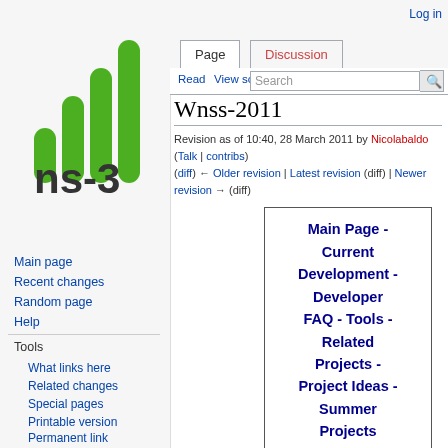[Figure (logo): ns-3 logo with green bar chart signal icon above text 'ns-3']
Log in
Page
Discussion
Read
View source
View history
Wnss-2011
Revision as of 10:40, 28 March 2011 by Nicolabaldo (Talk | contribs) (diff) ← Older revision | Latest revision (diff) | Newer revision → (diff)
Main page
Recent changes
Random page
Help
Tools
What links here
Related changes
Special pages
Printable version
Permanent link
Page information
Main Page - Current Development - Developer FAQ - Tools - Related Projects - Project Ideas - Summer Projects